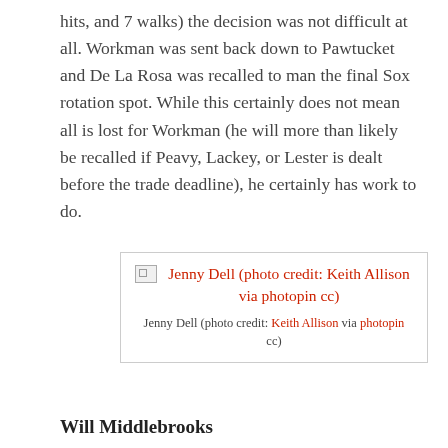hits, and 7 walks) the decision was not difficult at all. Workman was sent back down to Pawtucket and De La Rosa was recalled to man the final Sox rotation spot. While this certainly does not mean all is lost for Workman (he will more than likely be recalled if Peavy, Lackey, or Lester is dealt before the trade deadline), he certainly has work to do.
[Figure (photo): Placeholder image with link: Jenny Dell (photo credit: Keith Allison via photopin cc)]
Jenny Dell (photo credit: Keith Allison via photopin cc)
Will Middlebrooks